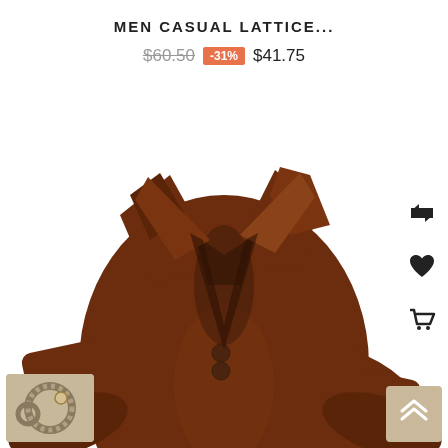MEN CASUAL LATTICE...
$60.50  -31%  $41.75
[Figure (photo): Product photo of a men's casual brown long-sleeve polo shirt with V-neckline, open collar, and two buttons at the chest, modeled on a torso.]
[Figure (photo): Small thumbnail image of a bracelet/ring accessory on a beige background at bottom left.]
[Figure (other): Beige scroll-up button with double chevron icon at bottom right.]